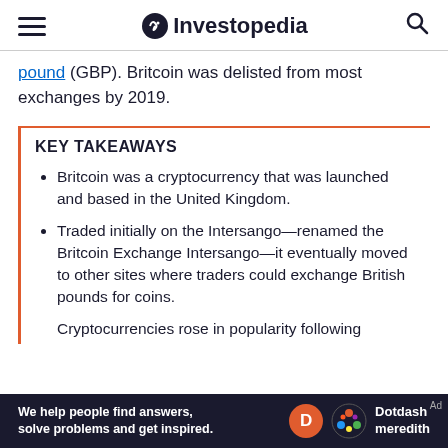Investopedia
pound (GBP). Britcoin was delisted from most exchanges by 2019.
KEY TAKEAWAYS
Britcoin was a cryptocurrency that was launched and based in the United Kingdom.
Traded initially on the Intersango—renamed the Britcoin Exchange Intersango—it eventually moved to other sites where traders could exchange British pounds for coins.
Cryptocurrencies rose in popularity following the 2008 financial crisis.
[Figure (other): Dotdash Meredith advertisement banner at the bottom of the page]